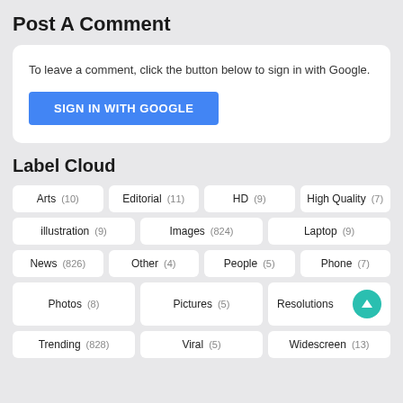Post A Comment
To leave a comment, click the button below to sign in with Google.
SIGN IN WITH GOOGLE
Label Cloud
Arts (10)
Editorial (11)
HD (9)
High Quality (7)
illustration (9)
Images (824)
Laptop (9)
News (826)
Other (4)
People (5)
Phone (7)
Photos (8)
Pictures (5)
Resolutions
Trending (828)
Viral (5)
Widescreen (13)